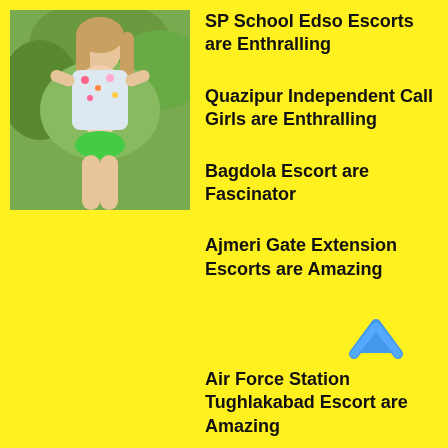[Figure (photo): Young woman in floral top and green bikini bottom posing outdoors with green foliage background]
SP School Edso Escorts are Enthralling
Quazipur Independent Call Girls are Enthralling
Bagdola Escort are Fascinator
Ajmeri Gate Extension Escorts are Amazing
Air Force Station Tughlakabad Escort are Amazing